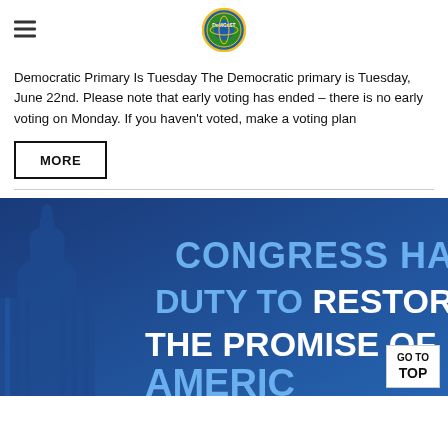[DemCast logo]
Democratic Primary Is Tuesday The Democratic primary is Tuesday, June 22nd. Please note that early voting has ended – there is no early voting on Monday. If you haven't voted, make a voting plan
MORE
[Figure (photo): Blue banner image with US Capitol building silhouette and text reading 'CONGRESS HAS A DUTY TO RESTORE THE PROMISE OF AMERIC...' with a 'GO TO TOP' button overlay in the bottom right corner.]